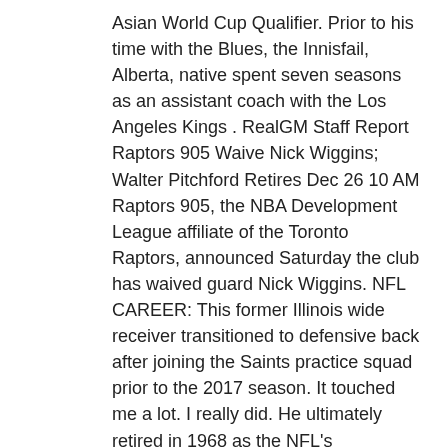Asian World Cup Qualifier. Prior to his time with the Blues, the Innisfail, Alberta, native spent seven seasons as an assistant coach with the Los Angeles Kings . RealGM Staff Report Raptors 905 Waive Nick Wiggins; Walter Pitchford Retires Dec 26 10 AM Raptors 905, the NBA Development League affiliate of the Toronto Raptors, announced Saturday the club has waived guard Nick Wiggins. NFL CAREER: This former Illinois wide receiver transitioned to defensive back after joining the Saints practice squad prior to the 2017 season. It touched me a lot. I really did. He ultimately retired in 1968 as the NFL's winningest coach with 324 victories. Plenty of world-class soccer players work with what the main source NBA Jerseys For Sale referred to as a high-performance hospital. During their games, he wears MLB Jerseys China all their gear, nestles himself into a chair, and enjoys talking smack with his friends and other fans. When he doesn't, they're 115. They were well on their way. It is unique in